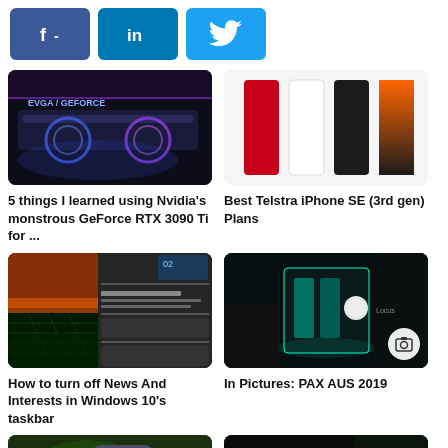[Figure (screenshot): Social sharing buttons: Facebook (f-), LinkedIn (in), Twitter bird icon]
[Figure (photo): EVGA GeForce RTX GPU with blue/purple lighting]
[Figure (photo): iPhone SE 3rd gen color options: red, white, black, orange gradient on white background]
5 things I learned using Nvidia's monstrous GeForce RTX 3090 Ti for ...
Best Telstra iPhone SE (3rd gen) Plans
[Figure (screenshot): Windows 10 News and Interests taskbar widget showing news feed and weather]
[Figure (photo): PAX AUS 2019 - gaming PC with teal lighting in glass case at expo]
How to turn off News And Interests in Windows 10's taskbar
In Pictures: PAX AUS 2019
[Figure (photo): Huawei Mate 30 phone held in hand against green tropical leaves]
[Figure (photo): iPhone 11 Pro & Pro Max promotional image with triple camera on dark background with play button overlay]